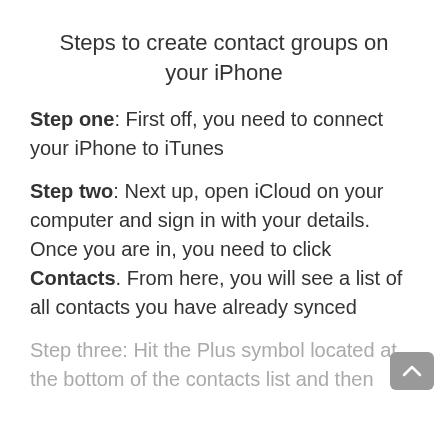Steps to create contact groups on your iPhone
Step one: First off, you need to connect your iPhone to iTunes
Step two: Next up, open iCloud on your computer and sign in with your details. Once you are in, you need to click Contacts. From here, you will see a list of all contacts you have already synced
Step three: Hit the Plus symbol located at the bottom of the contacts list and then